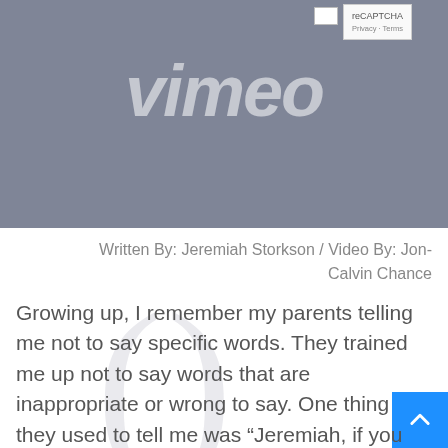[Figure (screenshot): Screenshot of a Vimeo video player with gray background showing the Vimeo logo in white italic text, and a reCAPTCHA widget in the top right corner]
Written By: Jeremiah Storkson / Video By: Jon-Calvin Chance
Growing up, I remember my parents telling me not to say specific words. They trained me up not to say words that are inappropriate or wrong to say. One thing they used to tell me was “Jeremiah, if you say that again, I am going to wash your mouth out with soap!” Now to clarify, my parents were not being serious about doing that, but they were communicating something. They raised me to value the words I say and to think about them. One